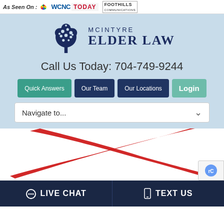As Seen On: WCNC TODAY FOOTHILLS
[Figure (logo): McIntyre Elder Law logo with tree graphic and firm name]
Call Us Today: 704-749-9244
Quick Answers | Our Team | Our Locations | Login
Navigate to...
[Figure (illustration): Large red X brushstroke graphic on white background]
LIVE CHAT   TEXT US